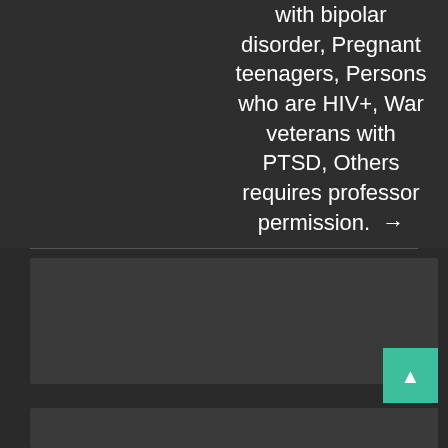with bipolar disorder, Pregnant teenagers, Persons who are HIV+, War veterans with PTSD, Others requires professor permission. →
[Figure (other): Call-to-action button labeled PLACE YOUR ORDER NOW with blue border on dark background]
[Figure (other): Green scroll-to-top button with upward arrow]
← Recent Posts